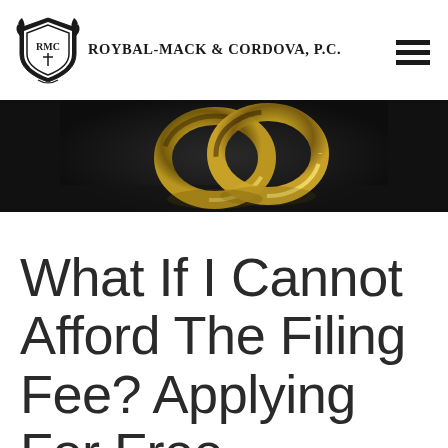Roybal-Mack & Cordova, P.C.
[Figure (photo): Dark background hero image showing two gold wedding bands/rings placed together on a dark surface]
What If I Cannot Afford The Filing Fee? Applying For Free Process